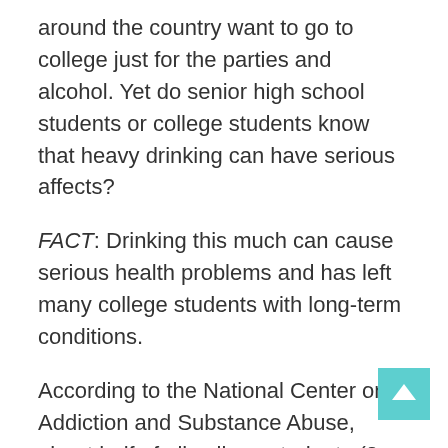around the country want to go to college just for the parties and alcohol. Yet do senior high school students or college students know that heavy drinking can have serious affects?
FACT: Drinking this much can cause serious health problems and has left many college students with long-term conditions.
According to the National Center on Addiction and Substance Abuse, about half of all college students (2 million) are considered risky binge drinkers. OK, so now most of us will assume this is no big deal because drinking is still a normal part of our lives.